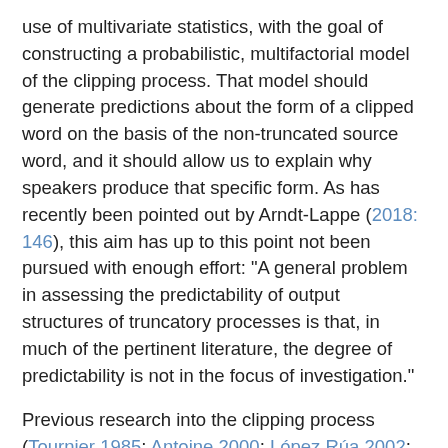use of multivariate statistics, with the goal of constructing a probabilistic, multifactorial model of the clipping process. That model should generate predictions about the form of a clipped word on the basis of the non-truncated source word, and it should allow us to explain why speakers produce that specific form. As has recently been pointed out by Arndt-Lappe (2018: 146), this aim has up to this point not been pursued with enough effort: "A general problem in assessing the predictability of output structures of truncatory processes is that, in much of the pertinent literature, the degree of predictability is not in the focus of investigation."
Previous research into the clipping process (Tournier 1985; Antoine 2000; López Rúa 2002; Jamet 2009; Balnat 2012, amongst others) has produced sizable collections of clipped forms, as well as several empirical generalizations. The position that clipping is largely unsystematic (Bauer 1994; Durkin 2009) is still common in current textbooks on word formation (Don 2014), but it has not gone unchallenged. In particular, studies that approach the phenomenon on the basis of quantitative